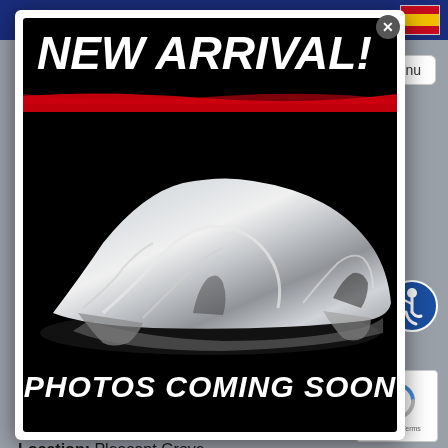-9063
[Figure (screenshot): Modal dialog popup showing a car under a silver cover on black background with text 'NEW ARRIVAL!' at top and 'PHOTOS COMING SOON' at bottom. Has a close button (x) in top right corner of the modal.]
5NMSH13E78H195959
Stock No.: RP-195959
Location: Pleasant Grove
Pre-Owned
Low Down!